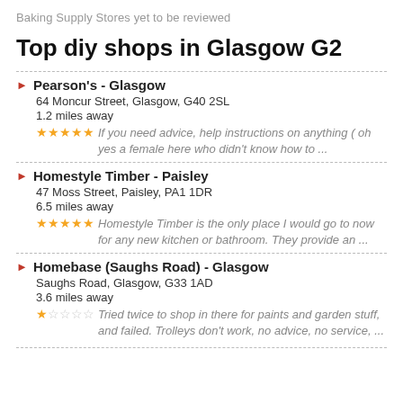Baking Supply Stores yet to be reviewed
Top diy shops in Glasgow G2
Pearson's - Glasgow
64 Moncur Street, Glasgow, G40 2SL
1.2 miles away
★★★★★ If you need advice, help instructions on anything ( oh yes a female here who didn't know how to ...
Homestyle Timber - Paisley
47 Moss Street, Paisley, PA1 1DR
6.5 miles away
★★★★★ Homestyle Timber is the only place I would go to now for any new kitchen or bathroom. They provide an ...
Homebase (Saughs Road) - Glasgow
Saughs Road, Glasgow, G33 1AD
3.6 miles away
★☆☆☆☆ Tried twice to shop in there for paints and garden stuff, and failed. Trolleys don't work, no advice, no service, ...